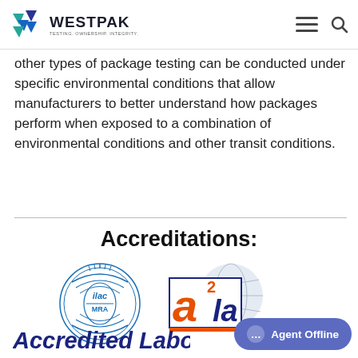WESTPAK — TESTING. OWNERSHIP. INTEGRITY.
other types of package testing can be conducted under specific environmental conditions that allow manufacturers to better understand how packages perform when exposed to a combination of environmental conditions and other transit conditions.
Accreditations:
[Figure (logo): ILAC-MRA circular logo with concentric wave lines and globe graphic, alongside A2LA logo in orange and dark blue with globe]
Accredited Labo...